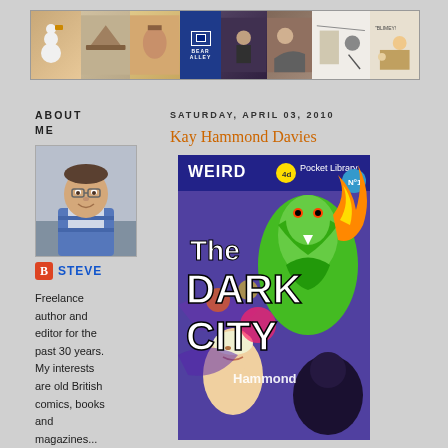[Figure (illustration): Bear Alley blog banner header with multiple comic/illustration panels including snowman, winter scene, Bear Alley logo in blue, dark figure, pirate/adventure comic panels, and cartoon characters]
ABOUT ME
[Figure (photo): Profile photo of a smiling middle-aged man wearing a striped blue and white shirt, indoors]
STEVE
Freelance author and editor for the past 30 years. My interests are old British comics, books and magazines...
SATURDAY, APRIL 03, 2010
Kay Hammond Davies
[Figure (illustration): Book cover for 'The Dark City' by Hammond, part of the Weird Pocket Library series (4d, No. 1). Features a vivid pulp art illustration with a green monster/creature, a woman in distress, flames, and colorful surreal imagery in purple, yellow, green tones.]